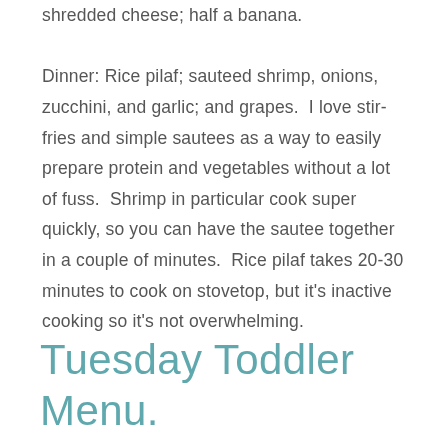shredded cheese; half a banana. Dinner: Rice pilaf; sauteed shrimp, onions, zucchini, and garlic; and grapes.  I love stir-fries and simple sautees as a way to easily prepare protein and vegetables without a lot of fuss.  Shrimp in particular cook super quickly, so you can have the sautee together in a couple of minutes.  Rice pilaf takes 20-30 minutes to cook on stovetop, but it's inactive cooking so it's not overwhelming.
Tuesday Toddler Menu.